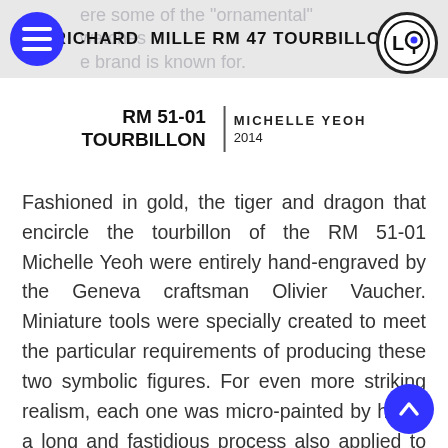RICHARD MILLE RM 47 TOURBILLON
RM 51-01 TOURBILLON | MICHELLE YEOH 2014
Fashioned in gold, the tiger and dragon that encircle the tourbillon of the RM 51-01 Michelle Yeoh were entirely hand-engraved by the Geneva craftsman Olivier Vaucher. Miniature tools were specially created to meet the particular requirements of producing these two symbolic figures. For even more striking realism, each one was micro-painted by hand, a long and fastidious process also applied to the invisible parts of these two creatures.